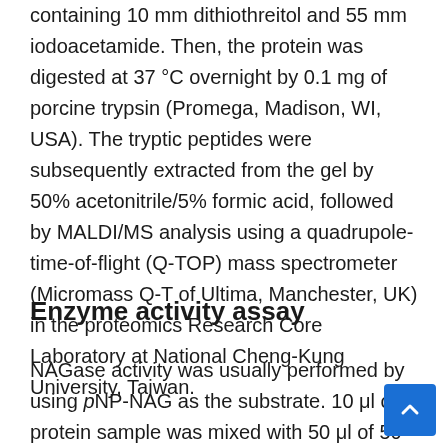containing 10 mm dithiothreitol and 55 mm iodoacetamide. Then, the protein was digested at 37 °C overnight by 0.1 mg of porcine trypsin (Promega, Madison, WI, USA). The tryptic peptides were subsequently extracted from the gel by 50% acetonitrile/5% formic acid, followed by MALDI/MS analysis using a quadrupole-time-of-flight (Q-TOP) mass spectrometer (Micromass Q-T of Ultima, Manchester, UK) in the proteomics Research Core Laboratory at National Cheng-Kung University, Taiwan.
Enzyme activity assay
NAGase activity was usually performed by using pNP-NAG as the substrate. 10 μl of protein sample was mixed with 50 μl of 50 mM phosphate buffer at pH 5, containing 300 μg/ml